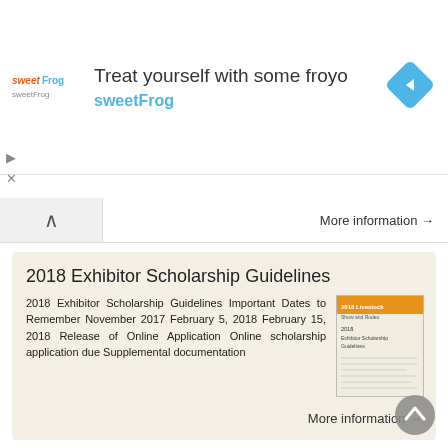[Figure (screenshot): SweetFrog advertisement banner with logo, headline 'Treat yourself with some froyo', brand name 'sweetFrog', and navigation arrow icon]
More information →
2018 Exhibitor Scholarship Guidelines
2018 Exhibitor Scholarship Guidelines Important Dates to Remember November 2017 February 5, 2018 February 15, 2018 Release of Online Application Online scholarship application due Supplemental documentation
More information →
FUNDRAISING FOR THE HEALTH SERVICES FOUNDATION OF THE SOUTH SHORE
Fundraising Guide TABLE OF CONTENTS Fundraising for the Health Services